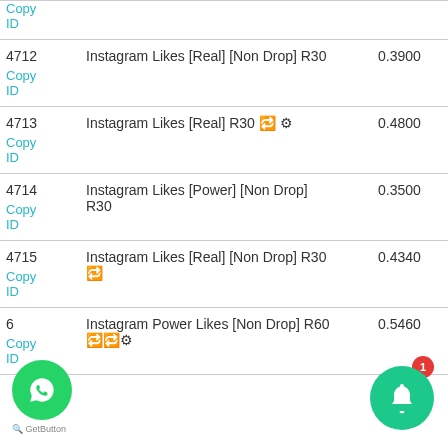| ID | Name | Price |
| --- | --- | --- |
| 4712
Copy
ID | Instagram Likes [Real] [Non Drop] R30 | 0.3900 |
| 4713
Copy
ID | Instagram Likes [Real] R30 🔁⚙ | 0.4800 |
| 4714
Copy
ID | Instagram Likes [Power] [Non Drop] R30 | 0.3500 |
| 4715
Copy
ID | Instagram Likes [Real] [Non Drop] R30 🔁 | 0.4340 |
| ...6
Copy
ID | Instagram Power Likes [Non Drop] R60 🔁🔁⚙ | 0.5460 |